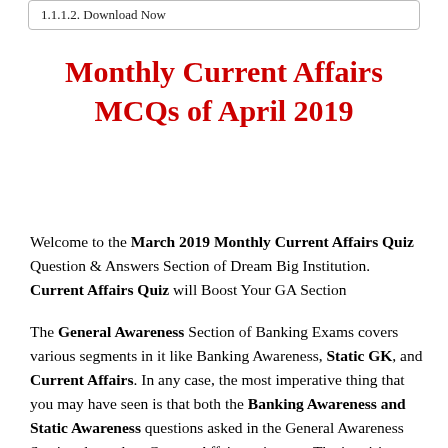1.1.1.2. Download Now
Monthly Current Affairs MCQs of April 2019
Welcome to the March 2019 Monthly Current Affairs Quiz Question & Answers Section of Dream Big Institution. Current Affairs Quiz will Boost Your GA Section
The General Awareness Section of Banking Exams covers various segments in it like Banking Awareness, Static GK, and Current Affairs. In any case, the most imperative thing that you may have seen is that both the Banking Awareness and Static Awareness questions asked in the General Awareness Section depend on Current Affairs as it were. The inquiries on Static and Banking